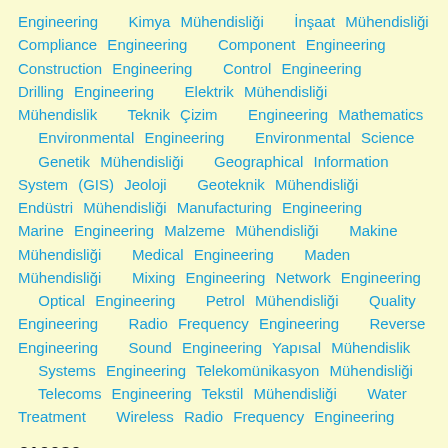Engineering   Kimya Mühendisliği   İnşaat Mühendisliği   Compliance Engineering   Component Engineering   Construction Engineering   Control Engineering   Drilling Engineering   Elektrik Mühendisliği   Mühendislik   Teknik Çizim   Engineering Mathematics   Environmental Engineering   Environmental Science   Genetik Mühendisliği   Geographical Information System (GIS)   Jeoloji   Geoteknik Mühendisliği   Endüstri Mühendisliği   Manufacturing Engineering   Marine Engineering   Malzeme Mühendisliği   Makine Mühendisliği   Medical Engineering   Maden Mühendisliği   Mixing Engineering   Network Engineering   Optical Engineering   Petrol Mühendisliği   Quality Engineering   Radio Frequency Engineering   Reverse Engineering   Sound Engineering   Yapısal Mühendislik   Systems Engineering   Telekomünikasyon Mühendisliği   Telecoms Engineering   Tekstil Mühendisliği   Water Treatment   Wireless Radio Frequency Engineering
€10030  (Avg Bid)
ÖZELLİKLİ   MÜHÜRLÜ   ÖNDE GELEN YARIŞMA